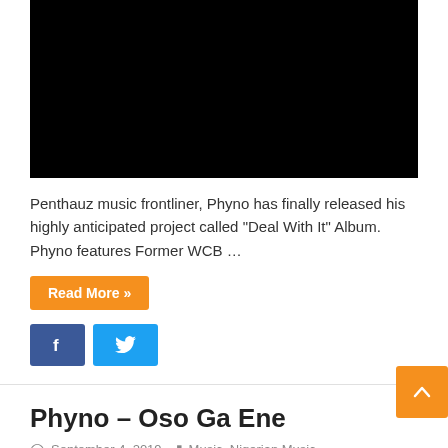[Figure (screenshot): Black video thumbnail/player area at the top of the article]
Penthauz music frontliner, Phyno has finally released his highly anticipated project called “Deal With It” Album. Phyno features Former WCB …
Read More »
[Figure (other): Facebook and Twitter social share buttons]
Phyno – Oso Ga Ene
September 4, 2019   Music, Nigerian Music
[Figure (screenshot): Bottom thumbnail strip with a small icon, beginning of next article image]